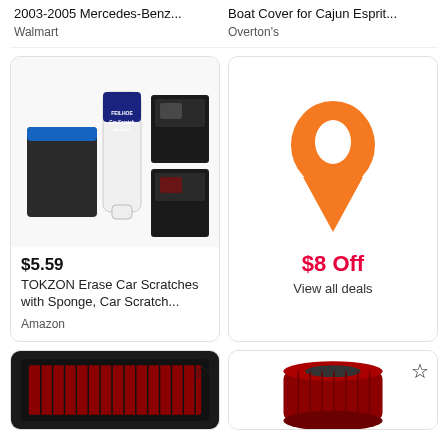2003-2005 Mercedes-Benz...
Walmart
Boat Cover for Cajun Esprit...
Overton's
[Figure (photo): TOKZON Car Scratch Remover product photo with blue sponge applicator, tube, and before/after car surface images]
$5.59
TOKZON Erase Car Scratches with Sponge, Car Scratch...
Amazon
[Figure (infographic): Orange location pin icon on white background with $8 Off deal promotion]
$8 Off
View all deals
[Figure (photo): Air filter product - black and red rectangular air filter, partially visible]
[Figure (photo): Air filter product - red conical/cylindrical air filter, partially visible]